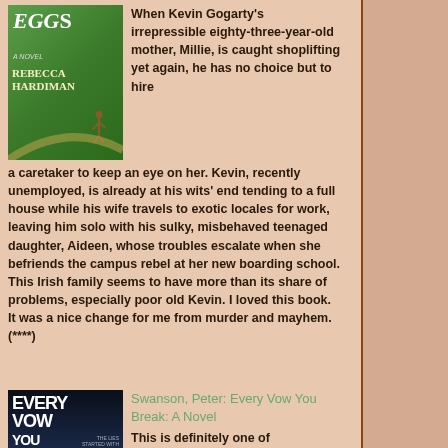[Figure (illustration): Book cover of 'Eggs: A Novel' by Rebecca Hardiman, featuring large italic text 'EGGS' at top, author name, and a small figure of a person walking against a green background]
When Kevin Gogarty's irrepressible eighty-three-year-old mother, Millie, is caught shoplifting yet again, he has no choice but to hire a caretaker to keep an eye on her. Kevin, recently unemployed, is already at his wits' end tending to a full house while his wife travels to exotic locales for work, leaving him solo with his sulky, misbehaved teenaged daughter, Aideen, whose troubles escalate when she befriends the campus rebel at her new boarding school. This Irish family seems to have more than its share of problems, especially poor old Kevin. I loved this book. It was a nice change for me from murder and mayhem. (****)
[Figure (illustration): Book cover of 'Every Vow You Break: A Novel' by Peter Swanson, dark background with large white text]
Swanson, Peter: Every Vow You Break: A Novel
This is definitely one of